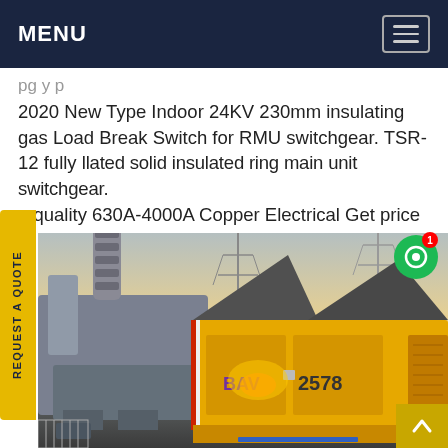MENU
2020 New Type Indoor 24KV 230mm insulating gas Load Break Switch for RMU switchgear. TSR-12 fully insulated solid insulated ring main unit switchgear. n quality 630A-4000A Copper Electrical Get price
[Figure (photo): Outdoor electrical substation equipment including transformer and yellow mobile switchgear unit labeled '2578', with power transmission towers in the background at sunset.]
REQUEST A QUOTE